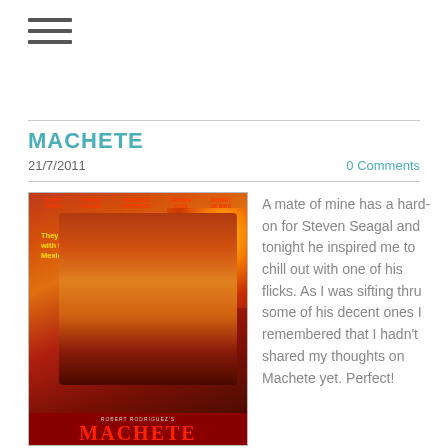≡
MACHETE
21/7/2011
0 Comments
[Figure (photo): Movie poster for Machete (2010) directed by Robert Rodriguez, featuring Danny Trejo and cast with tagline 'They just messed with the wrong Mexican.']
A mate of mine has a hard-on for Steven Seagal and tonight he inspired me to chill out with one of his flicks. As I was sifting thru some of his decent ones I remembered that I hadn't shared my thoughts on Machete yet. Perfect!